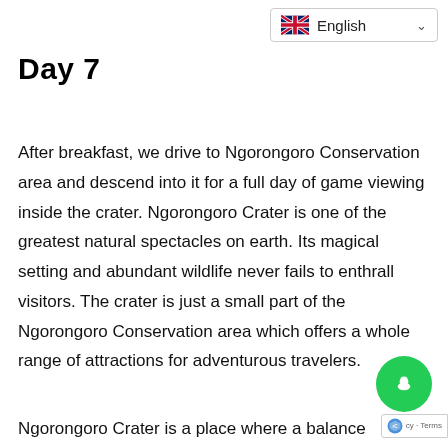[Figure (other): Language selector dropdown showing UK flag and 'English' with chevron]
Day 7
After breakfast, we drive to Ngorongoro Conservation area and descend into it for a full day of game viewing inside the crater. Ngorongoro Crater is one of the greatest natural spectacles on earth. Its magical setting and abundant wildlife never fails to enthrall visitors. The crater is just a small part of the Ngorongoro Conservation area which offers a whole range of attractions for adventurous travelers.
Ngorongoro Crater is a place where a balance